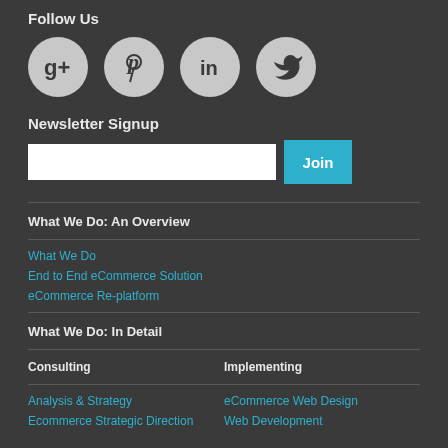Follow Us
[Figure (illustration): Four social media icons in circles: Google+, Pinterest, LinkedIn, Twitter]
Newsletter Signup
[email input field] [Join button]
What We Do: An Overview
What We Do
End to End eCommerce Solution
eCommerce Re-platform
What We Do: In Detail
Consulting | Implementing
Analysis & Strategy
eCommerce Web Design
Ecommerce Strategic Direction
Web Development